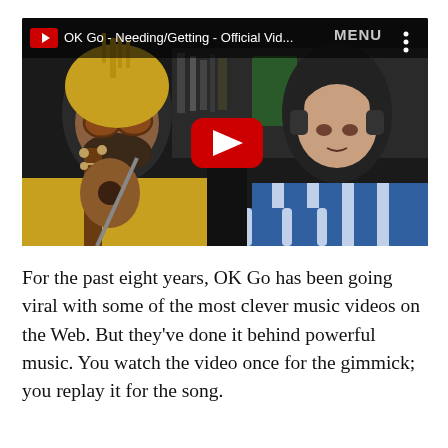[Figure (screenshot): YouTube video thumbnail showing two people in a car/vehicle. Left person wears yellow hoodie and sunglasses, plays a guitar/ukulele. Right person wears blue striped shirt and headphones. A red YouTube play button is centered on the video. Top bar shows title 'OK Go - Needing/Getting - Official Vid...' and a three-dot menu icon. 'MENU' text appears in top-right corner.]
For the past eight years, OK Go has been going viral with some of the most clever music videos on the Web. But they've done it behind powerful music. You watch the video once for the gimmick; you replay it for the song.